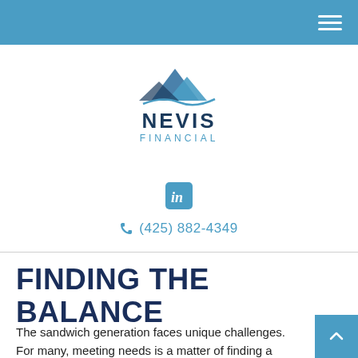[Figure (logo): Nevis Financial logo with mountain graphic above company name]
[Figure (logo): LinkedIn 'in' icon in teal/blue color]
(425) 882-4349
FINDING THE BALANCE
The sandwich generation faces unique challenges. For many, meeting needs is a matter of finding a balance.